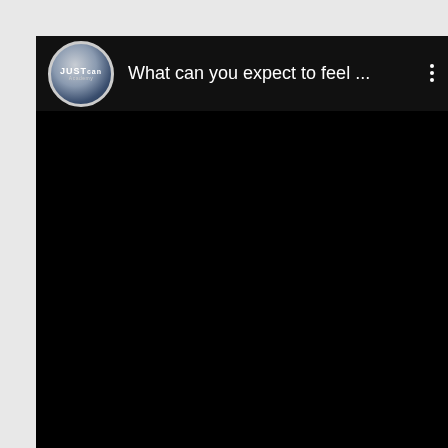[Figure (screenshot): A mobile video player screenshot showing a black video frame with a top bar containing the JUSTcan Academy logo (circular icon) and the title 'What can you expect to feel ...' with a three-dot menu icon on the right.]